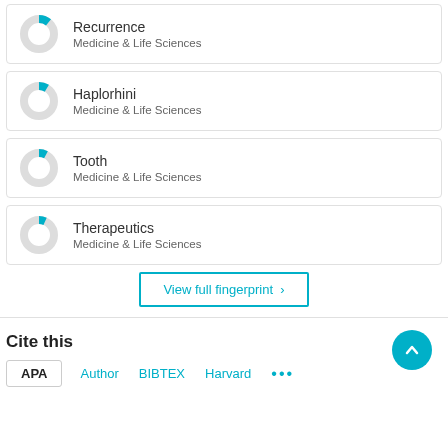[Figure (donut-chart): Small donut chart showing a small cyan segment on a gray ring]
Recurrence
Medicine & Life Sciences
[Figure (donut-chart): Small donut chart showing a small cyan segment on a gray ring]
Haplorhini
Medicine & Life Sciences
[Figure (donut-chart): Small donut chart showing a small cyan segment on a gray ring]
Tooth
Medicine & Life Sciences
[Figure (donut-chart): Small donut chart showing a small cyan segment on a gray ring]
Therapeutics
Medicine & Life Sciences
View full fingerprint >
Cite this
APA  Author  BIBTEX  Harvard  ...